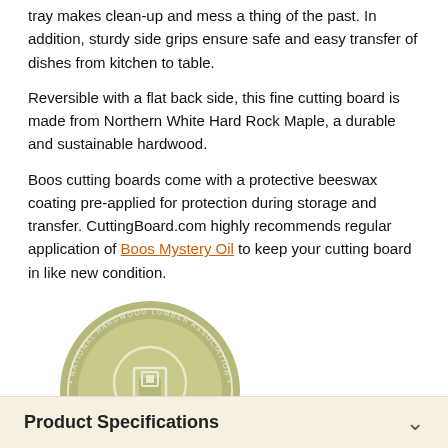tray makes clean-up and mess a thing of the past. In addition, sturdy side grips ensure safe and easy transfer of dishes from kitchen to table.
Reversible with a flat back side, this fine cutting board is made from Northern White Hard Rock Maple, a durable and sustainable hardwood.
Boos cutting boards come with a protective beeswax coating pre-applied for protection during storage and transfer. CuttingBoard.com highly recommends regular application of Boos Mystery Oil to keep your cutting board in like new condition.
[Figure (logo): NHLA (National Hardwood Lumber Association) Sustainability Verification Certificate circular logo in olive/khaki green color]
Product Specifications